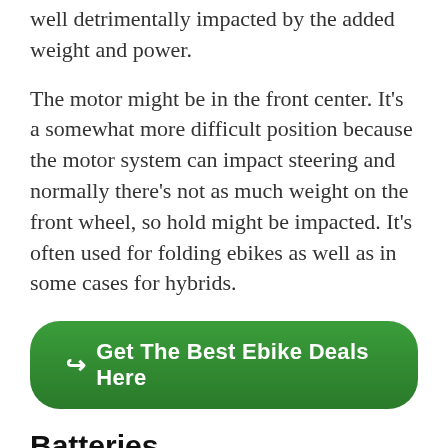well detrimentally impacted by the added weight and power.
The motor might be in the front center. It's a somewhat more difficult position because the motor system can impact steering and normally there's not as much weight on the front wheel, so hold might be impacted. It's often used for folding ebikes as well as in some cases for hybrids.
[Figure (other): Green rounded call-to-action button with arrow icon and text: Get The Best Ebike Deals Here]
Batteries
An electric bike will certainly be powered by a rechargeable lithium-ion battery. Like the